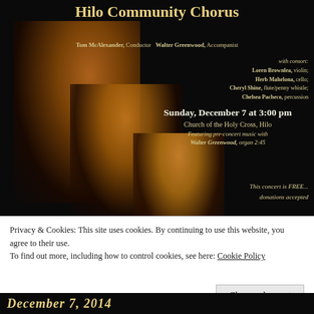Hilo Community Chorus
Tom McAlexander, Conductor  Walter Greenwood, Accompanist
with consort:
Loren Brownlea, violin;
Herb Mahelona, cello;
Cheryl Shine, flute/penny whistle;
Chelsea Pacheco, percussion
Sunday, December 7 at 3:00 pm
Church of the Holy Cross, Hilo
Featuring pre-concert music with
Walter Greenwood, organ 2:45
This concert is FREE...
donations accepted
[Figure (photo): Dark background with three lit candles of varying heights glowing with warm golden-orange light against a black background]
Privacy & Cookies: This site uses cookies. By continuing to use this website, you agree to their use.
To find out more, including how to control cookies, see here: Cookie Policy
Close and accept
December 7, 2014